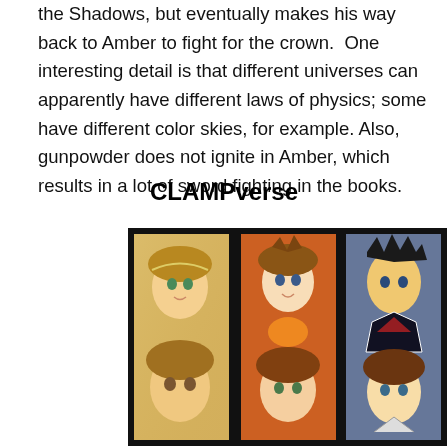the Shadows, but eventually makes his way back to Amber to fight for the crown.  One interesting detail is that different universes can apparently have different laws of physics; some have different color skies, for example.  Also, gunpowder does not ignite in Amber, which results in a lot of sword fighting in the books.
CLAMPverse
[Figure (illustration): Three manga-style illustrated panels side by side with a thick black border, showing anime/manga characters from the CLAMPverse franchise.]